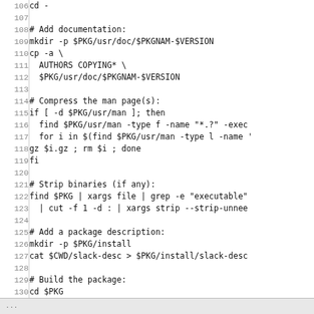Code listing lines 106-132: shell script for building a Slackware package
...